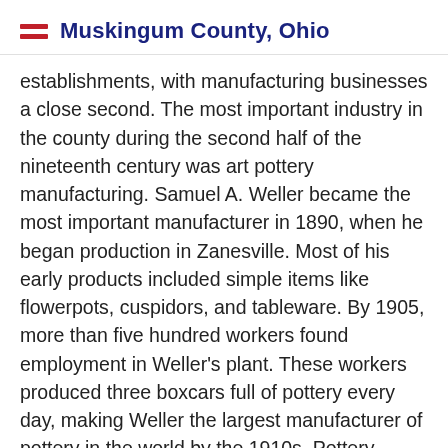Muskingum County, Ohio
establishments, with manufacturing businesses a close second. The most important industry in the county during the second half of the nineteenth century was art pottery manufacturing. Samuel A. Weller became the most important manufacturer in 1890, when he began production in Zanesville. Most of his early products included simple items like flowerpots, cuspidors, and tableware. By 1905, more than five hundred workers found employment in Weller's plant. These workers produced three boxcars full of pottery every day, making Weller the largest manufacturer of pottery in the world by the 1910s. Pottery manufacturing remains a vital component of Muskingum County's economy today. In 2003, many of Zanesville's residents found employment in various pottery establishments, including Fioriware Art Pottery,